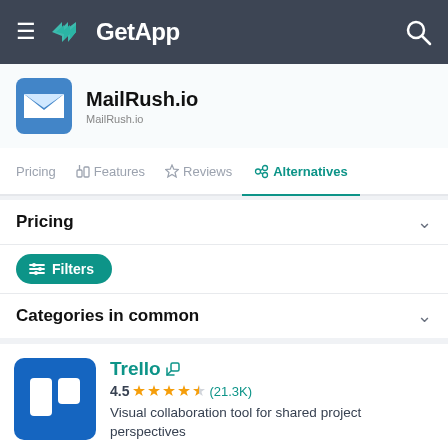GetApp
MailRush.io
Pricing  Features  Reviews  Alternatives
Pricing
Filters
Categories in common
Trello
4.5 (21.3K)
Visual collaboration tool for shared project perspectives